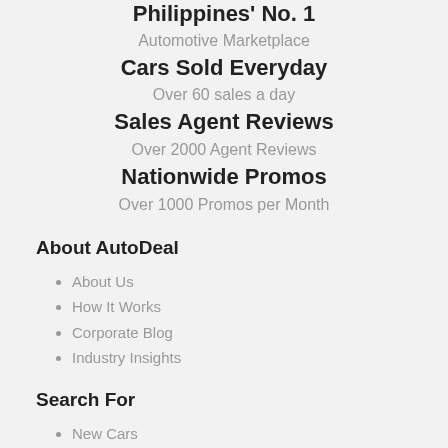Philippines' No. 1
Automotive Marketplace
Cars Sold Everyday
Over 60 sales a day
Sales Agent Reviews
Over 2000 Agent Reviews
Nationwide Promos
Over 1000 Promos per Month
About AutoDeal
About Us
How It Works
Corporate Blog
Industry Insights
Search For
New Cars
Car Reviews
Clearance Sale
Used Cars
Compare Cars